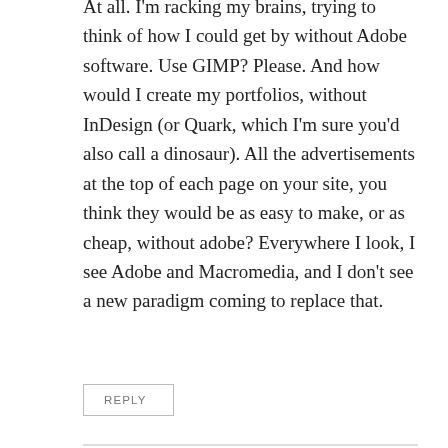At all. I'm racking my brains, trying to think of how I could get by without Adobe software. Use GIMP? Please. And how would I create my portfolios, without InDesign (or Quark, which I'm sure you'd also call a dinosaur). All the advertisements at the top of each page on your site, you think they would be as easy to make, or as cheap, without adobe? Everywhere I look, I see Adobe and Macromedia, and I don't see a new paradigm coming to replace that.
REPLY
Chris4d
April 22, 2005 at 12:32 pm
Oh, and how are iPhoto and Picasa even remotely related to Photoshop, Illustrator, VersionCue, etc.?